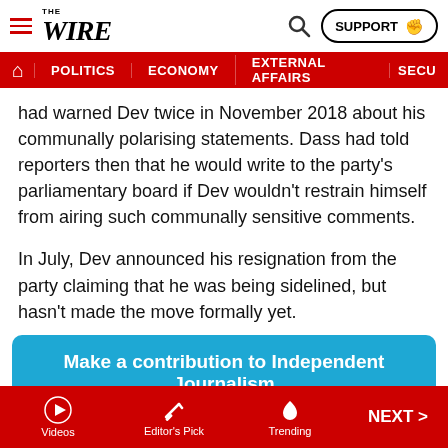THE WIRE — SUPPORT
POLITICS | ECONOMY | EXTERNAL AFFAIRS | SECU...
had warned Dev twice in November 2018 about his communally polarising statements. Dass had told reporters then that he would write to the party's parliamentary board if Dev wouldn't restrain himself from airing such communally sensitive comments.
In July, Dev announced his resignation from the party claiming that he was being sidelined, but hasn't made the move formally yet.
Make a contribution to Independent Journalism
I would like to contribute
Videos | Editor's Pick | Trending | NEXT >